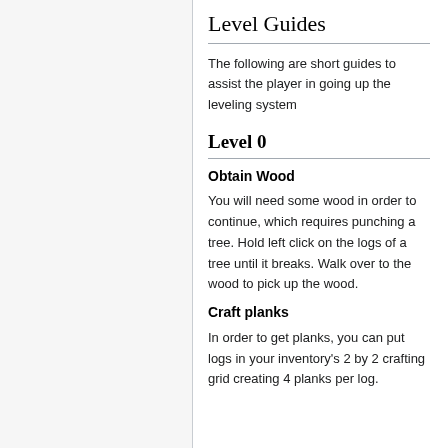Level Guides
The following are short guides to assist the player in going up the leveling system
Level 0
Obtain Wood
You will need some wood in order to continue, which requires punching a tree. Hold left click on the logs of a tree until it breaks. Walk over to the wood to pick up the wood.
Craft planks
In order to get planks, you can put logs in your inventory's 2 by 2 crafting grid creating 4 planks per log.